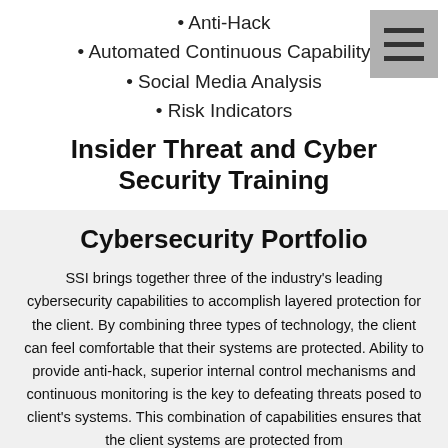• Anti-Hack
• Automated Continuous Capability
• Social Media Analysis
• Risk Indicators
Insider Threat and Cyber Security Training
Cybersecurity Portfolio
SSI brings together three of the industry's leading cybersecurity capabilities to accomplish layered protection for the client. By combining three types of technology, the client can feel comfortable that their systems are protected. Ability to provide anti-hack, superior internal control mechanisms and continuous monitoring is the key to defeating threats posed to client's systems. This combination of capabilities ensures that the client systems are protected from